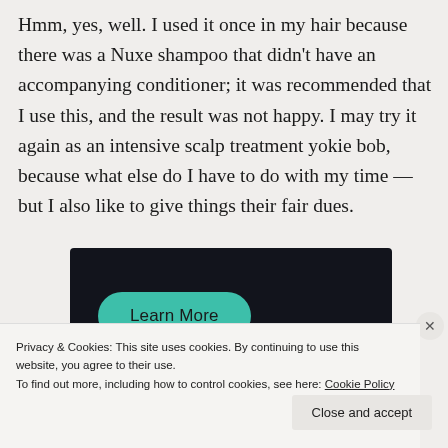Hmm, yes, well. I used it once in my hair because there was a Nuxe shampoo that didn't have an accompanying conditioner; it was recommended that I use this, and the result was not happy. I may try it again as an intensive scalp treatment yokie bob, because what else do I have to do with my time — but I also like to give things their fair dues.
[Figure (other): Dark banner advertisement with a teal 'Learn More' pill button on the left side]
Privacy & Cookies: This site uses cookies. By continuing to use this website, you agree to their use.
To find out more, including how to control cookies, see here: Cookie Policy
Close and accept